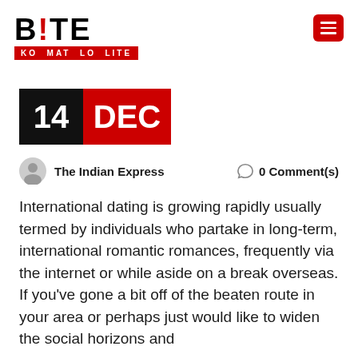[Figure (logo): BITE logo with fork icon and tagline KO MAT LO LITE in red banner]
[Figure (infographic): Date badge showing 14 DEC with black background for day and red background for month]
The Indian Express   0 Comment(s)
International dating is growing rapidly usually termed by individuals who partake in long-term, international romantic romances, frequently via the internet or while aside on a break overseas. If you've gone a bit off of the beaten route in your area or perhaps just would like to widen the social horizons and